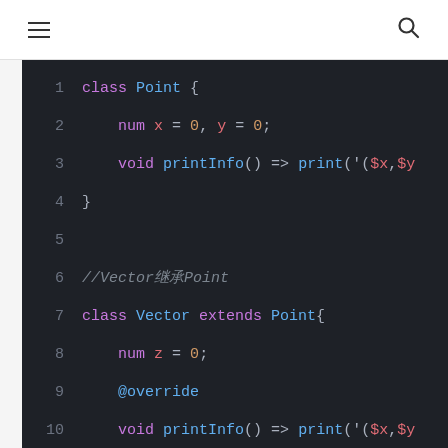☰  🔍
[Figure (screenshot): Dark-themed code editor screenshot showing Dart/Flutter-like class definitions. Lines 1-15 showing Point class, Vector class extending Point, and beginning of Coordinate class implementing Point. Syntax highlighted with purple keywords, blue class/function names, orange numbers, and gray comments in italic.]